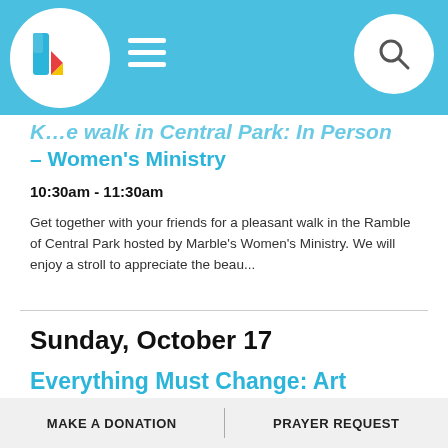[Figure (logo): Colorful geometric logo with blue, red, yellow, and teal shapes on a white circular background]
...e walk in Central Park: In Person – Women's Ministry
10:30am - 11:30am
Get together with your friends for a pleasant walk in the Ramble of Central Park hosted by Marble's Women's Ministry. We will enjoy a stroll to appreciate the beau...
Sunday, October 17
Everything Must Change: Art Exhibit
All Day
MAKE A DONATION   PRAYER REQUEST